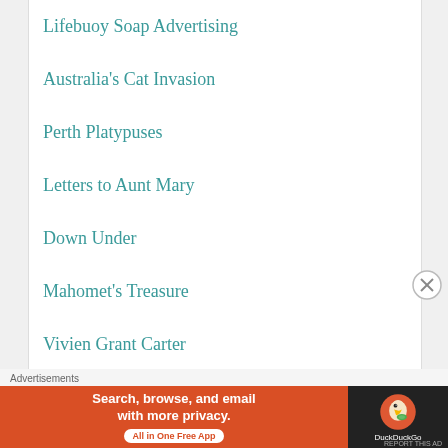Lifebuoy Soap Advertising
Australia's Cat Invasion
Perth Platypuses
Letters to Aunt Mary
Down Under
Mahomet's Treasure
Vivien Grant Carter
Advertisements
[Figure (other): DuckDuckGo advertisement banner: 'Search, browse, and email with more privacy. All in One Free App' with DuckDuckGo logo on dark background]